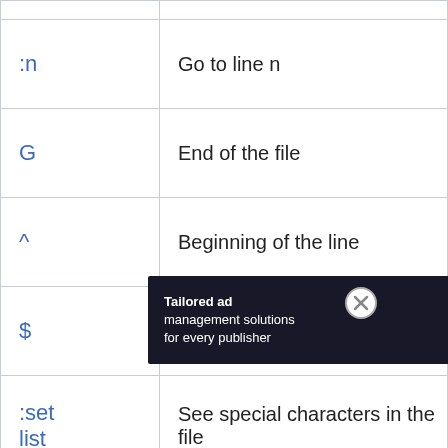| Command | Description |
| --- | --- |
| :n | Go to line n |
| G | End of the file |
| ^ | Beginning of the line |
| $ | End of the line |
| :set list | See special characters in the file |
| yy | Copy the line into the buffer |
| 5yy | Copy 5 lines into the buffer |
| p | Paste buffer after the current line |